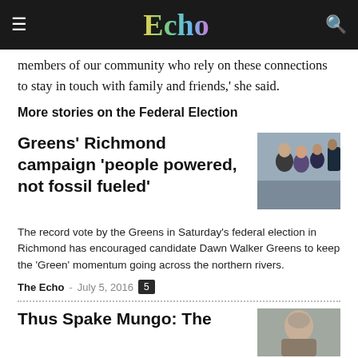Echo
members of our community who rely on these connections to stay in touch with family and friends,' she said.
More stories on the Federal Election
Greens' Richmond campaign 'people powered, not fossil fueled'
[Figure (photo): Two people smiling at a campaign event outdoors, surrounded by others]
The record vote by the Greens in Saturday's federal election in Richmond has encouraged candidate Dawn Walker Greens to keep the 'Green' momentum going across the northern rivers.
The Echo  -  July 5, 2016  5
Thus Spake Mungo: The
[Figure (photo): Portrait of a person, cropped]